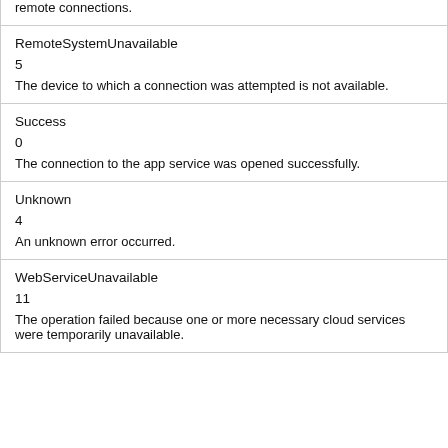| Name | Value | Description |
| --- | --- | --- |
| remote connections. |  |  |
| RemoteSystemUnavailable | 5 | The device to which a connection was attempted is not available. |
| Success | 0 | The connection to the app service was opened successfully. |
| Unknown | 4 | An unknown error occurred. |
| WebServiceUnavailable | 11 | The operation failed because one or more necessary cloud services were temporarily unavailable. |